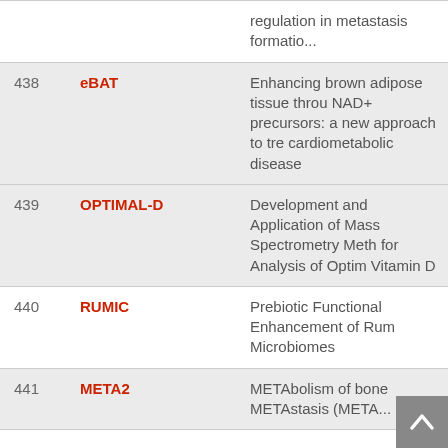| # | Name | Description |
| --- | --- | --- |
|  |  | regulation in metastasis formation |
| 438 | eBAT | Enhancing brown adipose tissue through NAD+ precursors: a new approach to treat cardiometabolic disease |
| 439 | OPTIMAL-D | Development and Application of Mass Spectrometry Methods for Analysis of Optimal Vitamin D |
| 440 | RUMIC | Prebiotic Functional Enhancement of Rumen Microbiomes |
| 441 | META2 | METAbolism of bone METAstasis (META2) |